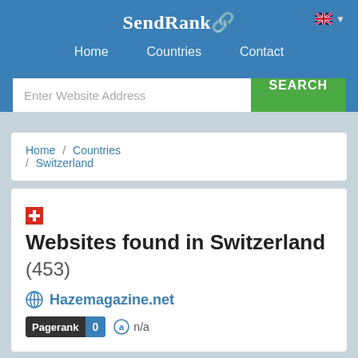SendRank
Home / Countries / Contact
Enter Website Address  SEARCH
Home / Countries / Switzerland
Websites found in Switzerland (453)
Hazemagazine.net
Pagerank 0  n/a